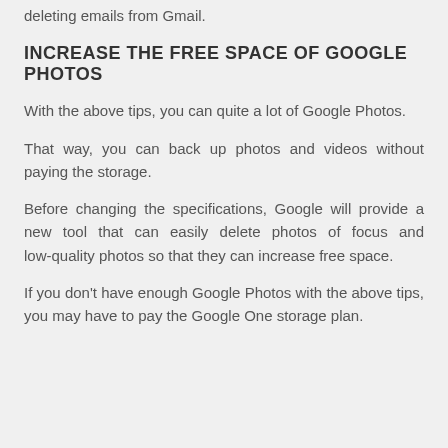deleting emails from Gmail.
INCREASE THE FREE SPACE OF GOOGLE PHOTOS
With the above tips, you can quite a lot of Google Photos.
That way, you can back up photos and videos without paying the storage.
Before changing the specifications, Google will provide a new tool that can easily delete photos of focus and low -quality photos so that they can increase free space.
If you don't have enough Google Photos with the above tips, you may have to pay the Google One storage plan.